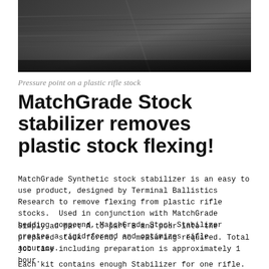[Figure (photo): Close-up photograph of a pressure point on a dark plastic rifle stock, showing layered/textured surface]
Pressure point on a plastic rifle stock
MatchGrade Stock stabilizer removes plastic stock flexing!
MatchGrade Synthetic stock stabilizer is an easy to use product, designed by Terminal Ballistics Research to remove flexing from plastic rifle stocks.  Used in conjunction with MatchGrade bedding compound, MatchGrade Stock Stabilizer creates a rigid forend and optimizes rifle accuracy.
Simply ad part A to part B and pour into the prepared stock forend, no measuring required. Total job time including preparation is approximately 1 hour.
Each kit contains enough Stabilizer for one rifle.